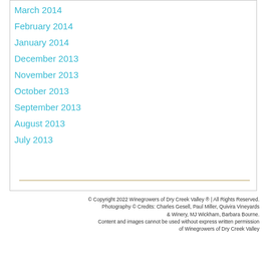March 2014
February 2014
January 2014
December 2013
November 2013
October 2013
September 2013
August 2013
July 2013
© Copyright 2022 Winegrowers of Dry Creek Valley ® | All Rights Reserved.
Photography © Credits: Charles Gesell, Paul Miller, Quivira Vineyards & Winery, MJ Wickham, Barbara Bourne.
Content and images cannot be used without express written permission of Winegrowers of Dry Creek Valley